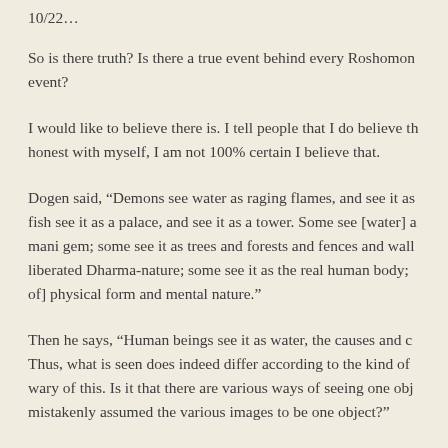So is there truth? Is there a true event behind every Roshomon event?
I would like to believe there is. I tell people that I do believe that. But when I am honest with myself, I am not 100% certain I believe that.
Dogen said, “Demons see water as raging flames, and see it as… fish see it as a palace, and see it as a tower. Some see [water] as a mani gem; some see it as trees and forests and fences and walls… liberated Dharma-nature; some see it as the real human body; [some see it as of] physical form and mental nature.”
Then he says, “Human beings see it as water, the causes and conditions of water… Thus, what is seen does indeed differ according to the kind of being. … Let us be wary of this. Is it that there are various ways of seeing one object, or is it that we have mistakenly assumed the various images to be one object?”